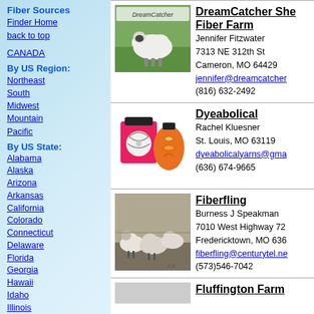Fiber Sources
Finder Home
back to top
CANADA
By US Region:
Northeast
South
Midwest
Mountain
Pacific
By US State:
Alabama
Alaska
Arizona
Arkansas
California
Colorado
Connecticut
Delaware
Florida
Georgia
Hawaii
Idaho
Illinois
Indiana
Iowa
Kansas
Kentucky
Louisiana
Maine
Maryland
Massachusetts
[Figure (photo): DreamCatcher Fiber Farm - photo of a sheep with DreamCatcher logo overlay]
DreamCatcher Sheep Fiber Farm
Jennifer Fitzwater
7313 NE 312th St
Cameron, MO 64429
jennifer@dreamcatcher...
(816) 632-2492
[Figure (illustration): Dyeabolical - illustration of yarn in colorful jars]
Dyeabolical
Rachel Kluesner
St. Louis, MO 63119
dyeabolicalyarns@gma...
(636) 674-9665
[Figure (photo): Fiberfling - black and white photo of sheep]
Fiberfling
Burness J Speakman
7010 West Highway 72
Fredericktown, MO 636...
fiberfling@centurytel.ne...
(573)546-7042
Fluffington Farms...